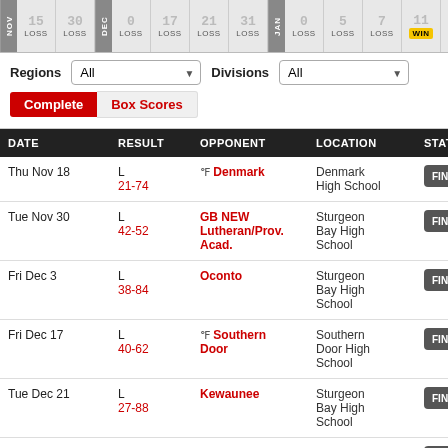[Figure (screenshot): Calendar strip showing game dates with LOSS/WIN labels. Months NOV, DEC, JAN visible. Dates 15, 30, DEC, 0, 17, 21, 31, JAN, 0, 5, 7, 11, 15, 17, 20 shown. Most marked LOSS, two marked WIN.]
| DATE | RESULT | OPPONENT | LOCATION | STATUS | ST |
| --- | --- | --- | --- | --- | --- |
| Thu Nov 18 | L
21-74 | ® Denmark | Denmark High School | FINAL | S |
| Tue Nov 30 | L
42-52 | GB NEW Lutheran/Prov. Acad. | Sturgeon Bay High School | FINAL |  |
| Fri Dec 3 | L
38-84 | Oconto | Sturgeon Bay High School | FINAL |  |
| Fri Dec 17 | L
40-62 | ® Southern Door | Southern Door High School | FINAL | S |
| Tue Dec 21 | L
27-88 | Kewaunee | Sturgeon Bay High School | FINAL |  |
| Fri Dec 31 | L
27-69 | ® Sevastopol | Sevastopol High School | FINAL |  |